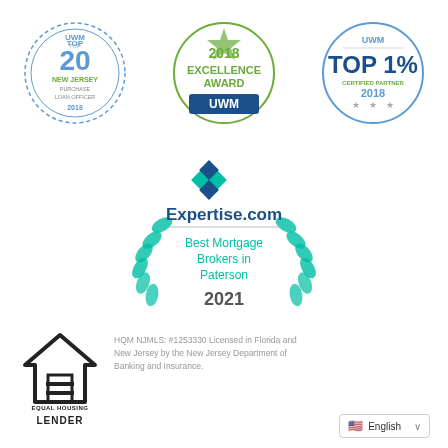[Figure (logo): UWM Top 20 New Jersey Purchase Loan Officer 2018 badge - circular blue dashed border]
[Figure (logo): 2018 Excellence Award UWM badge - circular with star, green/blue colors]
[Figure (logo): UWM Top 1% Certified Partner 2018 badge - circular blue border]
[Figure (logo): Expertise.com Best Mortgage Brokers in Paterson 2021 badge - teal wreath design]
[Figure (logo): Equal Housing Lender logo - house with equals sign, black]
HQM NJMLS: #1253330 Licensed in Florida and New Jersey by the New Jersey Department of Banking and Insurance.
English